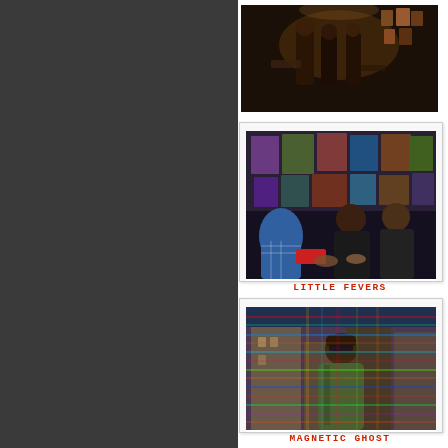[Figure (photo): Band performing live in a dimly lit venue with posters on the wall in the background]
[Figure (photo): Polaroid-style photo of a group of people gathered around a table with album covers/posters on wall behind them; labeled 'Little Fevers']
LITTLE FEVERS
[Figure (photo): Polaroid-style photo with colorful glitch/scan lines overlay showing a person on a street; labeled 'Magnetic Ghost']
MAGNETIC GHOST